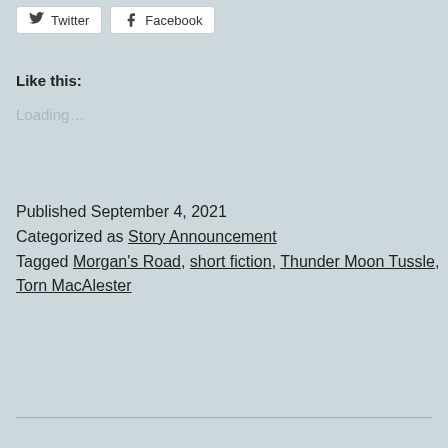Twitter   Facebook
Like this:
Loading…
Published September 4, 2021
Categorized as Story Announcement
Tagged Morgan's Road, short fiction, Thunder Moon Tussle, Torn MacAlester